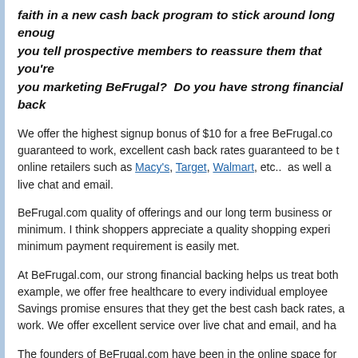faith in a new cash back program to stick around long enough, you tell prospective members to reassure them that you're you marketing BeFrugal?  Do you have strong financial back
We offer the highest signup bonus of $10 for a free BeFrugal.com guaranteed to work, excellent cash back rates guaranteed to be the online retailers such as Macy's, Target, Walmart, etc..  as well as live chat and email.
BeFrugal.com quality of offerings and our long term business on minimum. I think shoppers appreciate a quality shopping experience minimum payment requirement is easily met.
At BeFrugal.com, our strong financial backing helps us treat both example, we offer free healthcare to every individual employee. Savings promise ensures that they get the best cash back rates, and work. We offer excellent service over live chat and email, and ha
The founders of BeFrugal.com have been in the online space for 3 years old and well on its way to success with over $50 million in